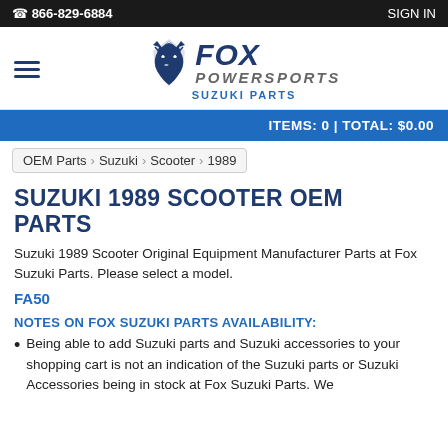866-829-6884  SIGN IN
[Figure (logo): Fox Powersports Suzuki Parts logo with fox head icon]
ITEMS: 0 | TOTAL: $0.00
OEM Parts > Suzuki > Scooter > 1989
SUZUKI 1989 SCOOTER OEM PARTS
Suzuki 1989 Scooter Original Equipment Manufacturer Parts at Fox Suzuki Parts. Please select a model.
FA50
NOTES ON FOX SUZUKI PARTS AVAILABILITY:
Being able to add Suzuki parts and Suzuki accessories to your shopping cart is not an indication of the Suzuki parts or Suzuki Accessories being in stock at Fox Suzuki Parts. We